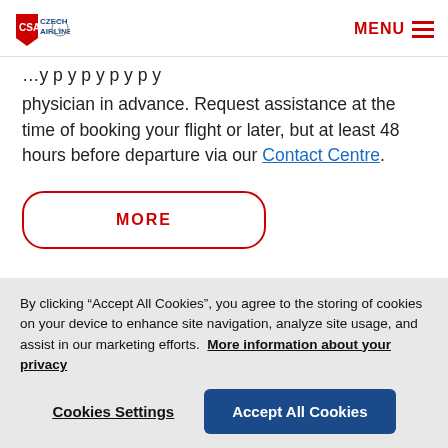CSA Czech Airlines | MENU
physician in advance. Request assistance at the time of booking your flight or later, but at least 48 hours before departure via our Contact Centre.
MORE
By clicking “Accept All Cookies”, you agree to the storing of cookies on your device to enhance site navigation, analyze site usage, and assist in our marketing efforts. More information about your privacy
Cookies Settings
Accept All Cookies